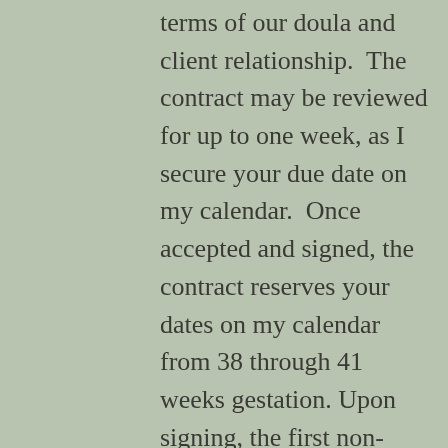terms of our doula and client relationship.  The contract may be reviewed for up to one week, as I secure your due date on my calendar.  Once accepted and signed, the contract reserves your dates on my calendar from 38 through 41 weeks gestation. Upon signing, the first non-refundable payment is due.
A second virtual “prenatal meeting” is then planned to discuss obstetrical and medical history, your partner’s role, birth planning and birth